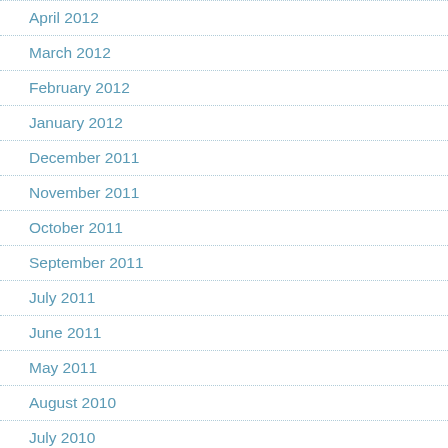April 2012
March 2012
February 2012
January 2012
December 2011
November 2011
October 2011
September 2011
July 2011
June 2011
May 2011
August 2010
July 2010